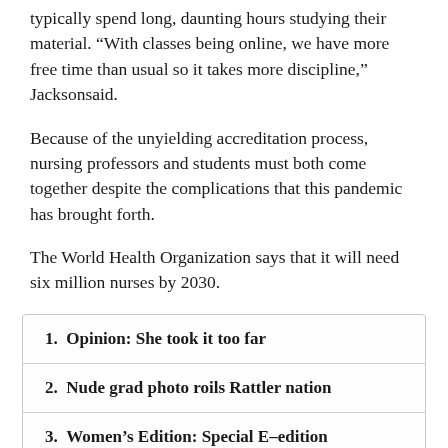typically spend long, daunting hours studying their material. “With classes being online, we have more free time than usual so it takes more discipline,”  Jacksonsaid.
Because of the unyielding accreditation process, nursing professors and students must both come together despite the complications that this pandemic has brought forth.
The World Health Organization says that it will need six million nurses by 2030.
1. Opinion: She took it too far
2. Nude grad photo roils Rattler nation
3. Women’s Edition: Special E-edition
4. FAMU has …